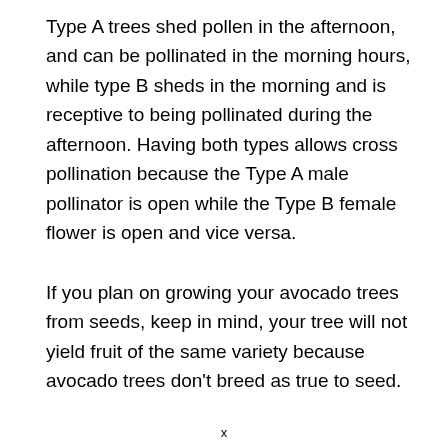Type A trees shed pollen in the afternoon, and can be pollinated in the morning hours, while type B sheds in the morning and is receptive to being pollinated during the afternoon. Having both types allows cross pollination because the Type A male pollinator is open while the Type B female flower is open and vice versa.
If you plan on growing your avocado trees from seeds, keep in mind, your tree will not yield fruit of the same variety because avocado trees don't breed as true to seed.
x